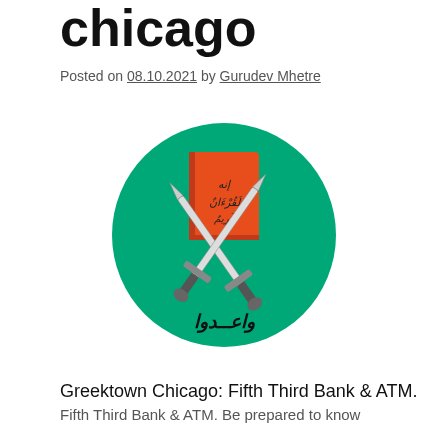chicago
Posted on 08.10.2021 by Gurudev Mhetre
[Figure (logo): Muslim Brotherhood logo: green circle with an orange book (Quran) in the center, two crossed white swords below, and Arabic text at the bottom reading 'واعدوا']
Greektown Chicago: Fifth Third Bank & ATM. Fifth Third Bank & ATM. Be prepared to know